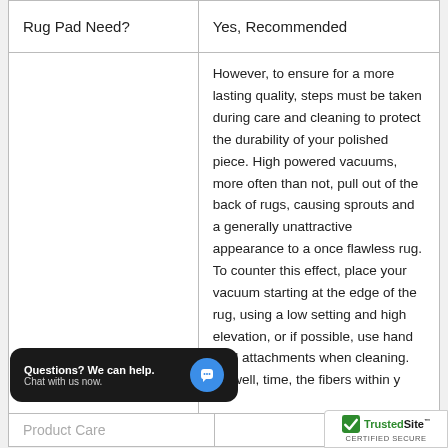|  |  |
| --- | --- |
| Rug Pad Need? | Yes, Recommended |
|  | However, to ensure for a more lasting quality, steps must be taken during care and cleaning to protect the durability of your polished piece. High powered vacuums, more often than not, pull out of the back of rugs, causing sprouts and a generally unattractive appearance to a once flawless rug. To counter this effect, place your vacuum starting at the edge of the rug, using a low setting and high elevation, or if possible, use hand held attachments when cleaning. As well, over time, the fibers within y... |
| Product Care |  |
Questions? We can help. Chat with us now.